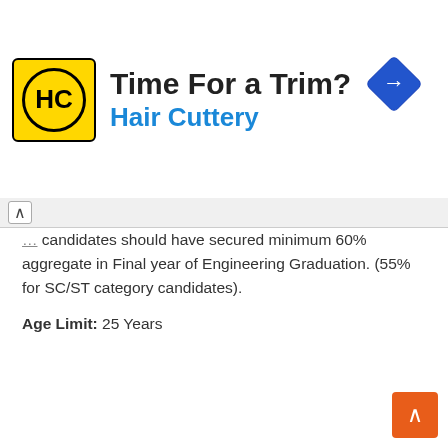[Figure (other): Hair Cuttery advertisement banner with logo, 'Time For a Trim?' headline, brand name, and navigation arrow icon]
candidates should have secured minimum 60% aggregate in Final year of Engineering Graduation. (55% for SC/ST category candidates).
Age Limit: 25 Years